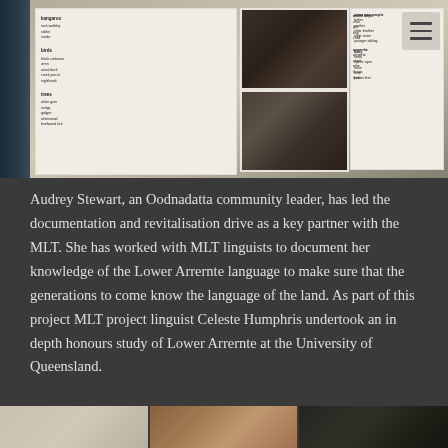[Figure (photo): Interior photograph of an exhibition space showing white display panels on a wall. The panels contain text about language documentation and smaller photographic images. A word list with vocabulary in Lower Arrernte language is visible on the right panel. A dark doorframe is visible on the left edge.]
Audrey Stewart, an Oodnadatta community leader, has led the documentation and revitalisation drive as a key partner with the MLT. She has worked with MLT linguists to document her knowledge of the Lower Arrernte language to make sure that the generations to come know the language of the land. As part of this project MLT project linguist Celeste Humphris undertook an in depth honours study of Lower Arrernte at the University of Queensland.
[Figure (photo): Partial view of the bottom of the exhibition space showing three framed images or windows at the bottom of the screen: a light-colored framed window on the left, a warm orange/brown toned image in the center, and a dark black image on the right.]